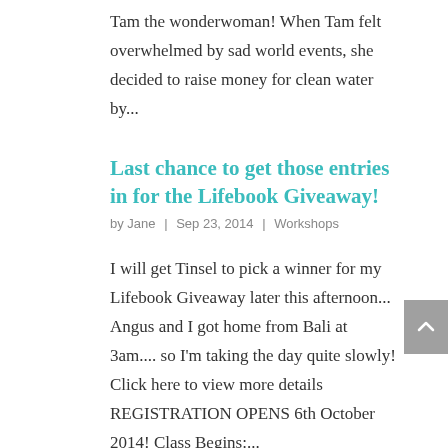Tam the wonderwoman! When Tam felt overwhelmed by sad world events, she decided to raise money for clean water by...
Last chance to get those entries in for the Lifebook Giveaway!
by Jane | Sep 23, 2014 | Workshops
I will get Tinsel to pick a winner for my Lifebook Giveaway later this afternoon... Angus and I got home from Bali at 3am.... so I'm taking the day quite slowly! Click here to view more details REGISTRATION OPENS 6th October 2014! Class Begins:...